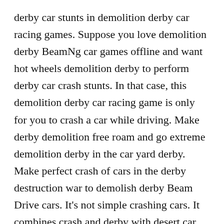derby car stunts in demolition derby car racing games. Suppose you love demolition derby BeamNg car games offline and want hot wheels demolition derby to perform derby car crash stunts. In that case, this demolition derby car racing game is only for you to crash a car while driving. Make derby demolition free roam and go extreme demolition derby in the car yard derby. Make perfect crash of cars in the derby destruction war to demolish derby Beam Drive cars. It's not simple crashing cars. It combines crash and derby with desert car derby crash stunts. Drive fast die last the dynamic soft body has average and realistic damage. Demolition derby BeamNg racing and demolition derby stunts are crazy to perform in the derby arenas. There are three major drift driving